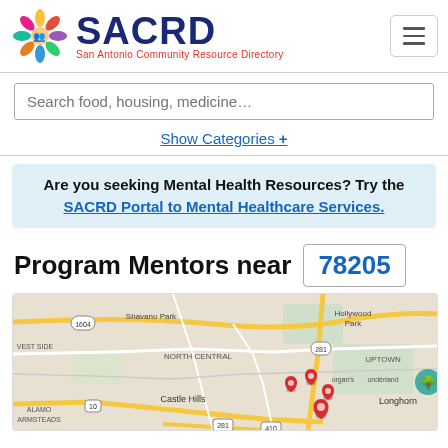[Figure (logo): SACRD logo with colorful people icon and text 'San Antonio Community Resource Directory']
Search food, housing, medicine…
Show Categories +
Are you seeking Mental Health Resources? Try the SACRD Portal to Mental Healthcare Services.
Program Mentors near 78205
[Figure (map): Google Maps showing San Antonio area with neighborhoods: Shavano Park, Hollywood Park, North Central, Castle Hills, Uptown, Alamo Farmsteads, Longhorn. Route markers 1604, 281, 10, 410 visible. Four red location pins clustered in the central area near Morgan's Wonderland.]